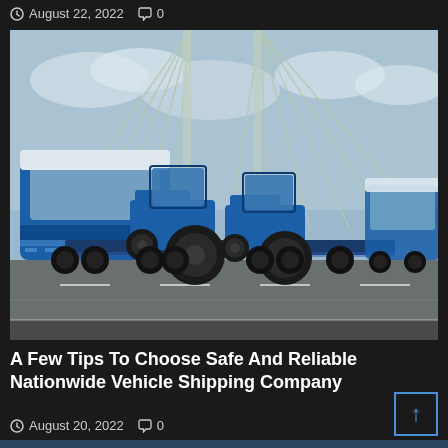August 22, 2022  0
[Figure (photo): A blue heavy-duty truck/lorry carrying multiple blue tractors on a low-loader trailer, driving across a cable-stayed bridge. Another blue truck is visible in the background on the right. Sky is cloudy.]
A Few Tips To Choose Safe And Reliable Nationwide Vehicle Shipping Company
August 20, 2022  0